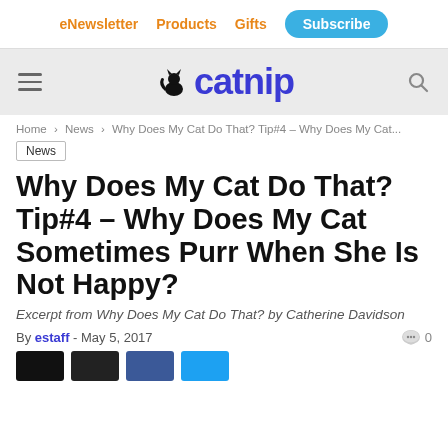eNewsletter  Products  Gifts  Subscribe
[Figure (logo): Catnip magazine logo with cat silhouette icon and purple 'catnip' wordmark on grey background]
Home › News › Why Does My Cat Do That? Tip#4 – Why Does My Cat...
News
Why Does My Cat Do That? Tip#4 – Why Does My Cat Sometimes Purr When She Is Not Happy?
Excerpt from Why Does My Cat Do That? by Catherine Davidson
By estaff - May 5, 2017   0